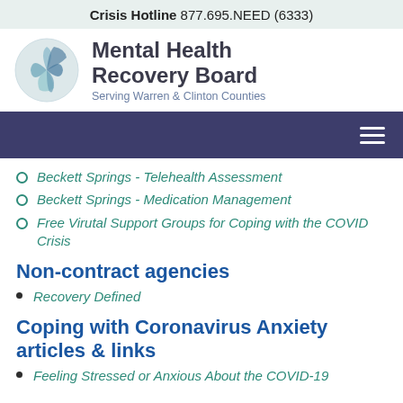Crisis Hotline 877.695.NEED (6333)
[Figure (logo): Mental Health Recovery Board logo with circular multi-tone blue/teal geometric sphere icon, text: Mental Health Recovery Board, Serving Warren & Clinton Counties]
[Figure (other): Dark navy navigation bar with hamburger menu icon (three white horizontal lines) on the right]
Beckett Springs - Telehealth Assessment
Beckett Springs - Medication Management
Free Virutal Support Groups for Coping with the COVID Crisis
Non-contract agencies
Recovery Defined
Coping with Coronavirus Anxiety articles & links
Feeling Stressed or Anxious About the COVID-19